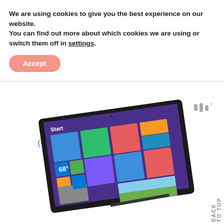We are using cookies to give you the best experience on our website.
You can find out more about which cookies we are using or switch them off in settings.
Accept
[Figure (logo): Small logo mark with three vertical bar-like shapes and a degree symbol, in gray]
Win one of TWO Surface 2's
(we're giving away two $500 gift cards to the Microsoft Store!) #glitterincXmicrosoft #Surface
[Figure (photo): Microsoft Surface 2 tablet showing Windows 8 Start screen with colorful tiles, displayed at an angle with kickstand]
BACK TO TOP